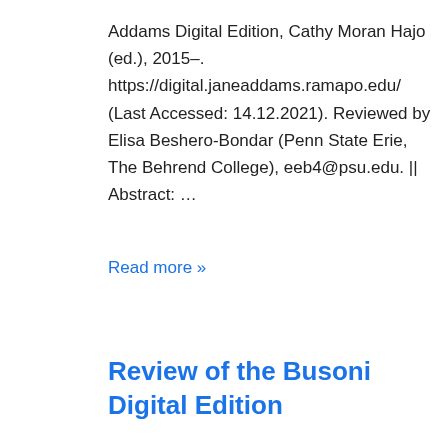Addams Digital Edition, Cathy Moran Hajo (ed.), 2015–. https://digital.janeaddams.ramapo.edu/ (Last Accessed: 14.12.2021). Reviewed by Elisa Beshero-Bondar (Penn State Erie, The Behrend College), eeb4@psu.edu. || Abstract: …
Read more »
Review of the Busoni Digital Edition